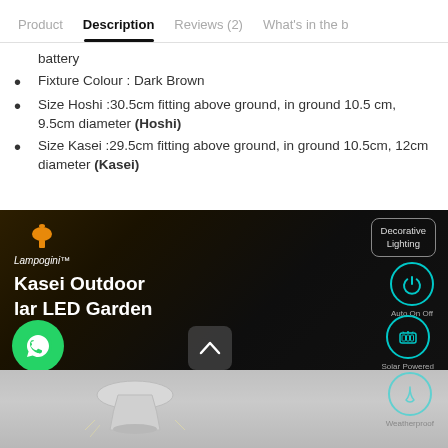Product | Description | Reviews (2) | What's in the b
battery
Fixture Colour : Dark Brown
Size Hoshi :30.5cm fitting above ground, in ground 10.5 cm, 9.5cm diameter (Hoshi)
Size Kasei :29.5cm fitting above ground, in ground 10.5cm, 12cm diameter (Kasei)
[Figure (photo): Lampogini brand product image showing Kasei Outdoor Solar LED Garden light. Dark background with logo top-left, Decorative Lighting label top-right, Auto On Off, Solar Powered, and Weatherproof icons on right side. WhatsApp chat button bottom-left. Bottom portion shows the physical garden light product on a light grey surface.]